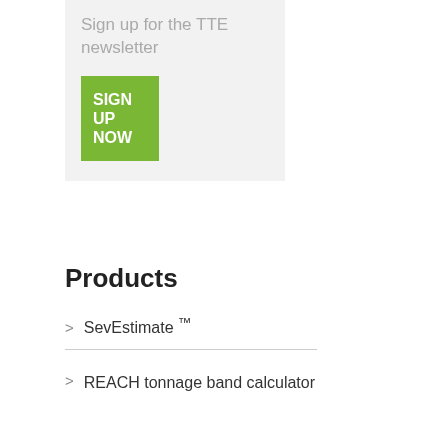Sign up for the TTE newsletter
[Figure (other): Green button with text SIGN UP NOW]
Products
SevEstimate ™
REACH tonnage band calculator